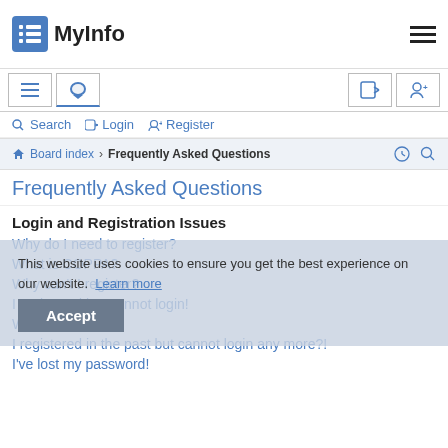MyInfo
Login and Registration Issues
Why do I need to register?
What is COPPA?
Why can't I register?
I registered but cannot login!
Why can't I login?
I registered in the past but cannot login any more?!
I've lost my password!
This website uses cookies to ensure you get the best experience on our website.  Learn more  Accept